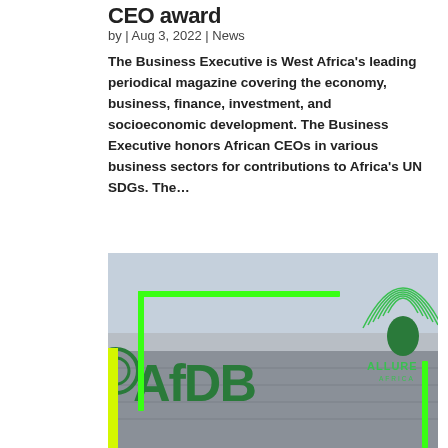CEO award
by | Aug 3, 2022 | News
The Business Executive is West Africa's leading periodical magazine covering the economy, business, finance, investment, and socioeconomic development. The Business Executive honors African CEOs in various business sectors for contributions to Africa's UN SDGs. The…
[Figure (photo): Photo of AfDB (African Development Bank) building exterior with large green letters 'AfDB' on the facade. Overlaid with a bright green rectangular frame graphic and a 'ALLURE AFRICA' logo watermark in the top right corner. A yellow-green vertical bar appears on the left side.]